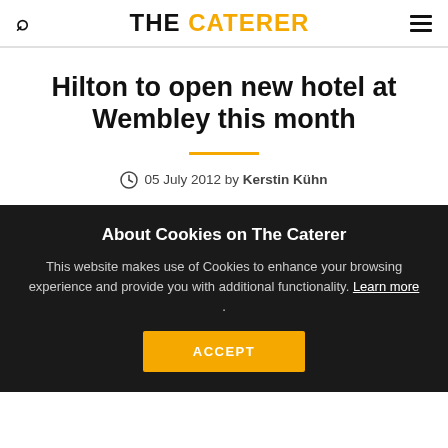THE CATERER
Hilton to open new hotel at Wembley this month
05 July 2012 by Kerstin Kühn
About Cookies on The Caterer
This website makes use of Cookies to enhance your browsing experience and provide you with additional functionality. Learn more .
ACCEPT